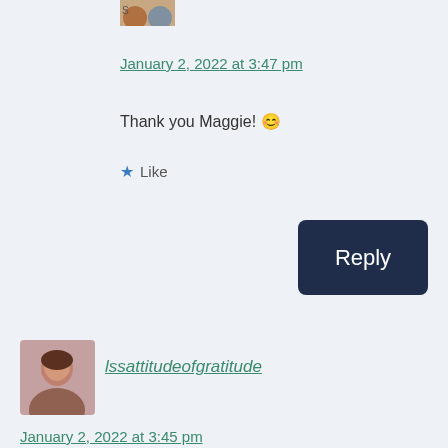[Figure (photo): Small avatar/profile image partially visible at top]
January 2, 2022 at 3:47 pm
Thank you Maggie! 😊
★ Like
Reply
[Figure (photo): Profile photo of a woman with brown hair]
lssattitudeofgratitude
January 2, 2022 at 3:45 pm
Thanks for joining in. I didn't even think about emojis. This